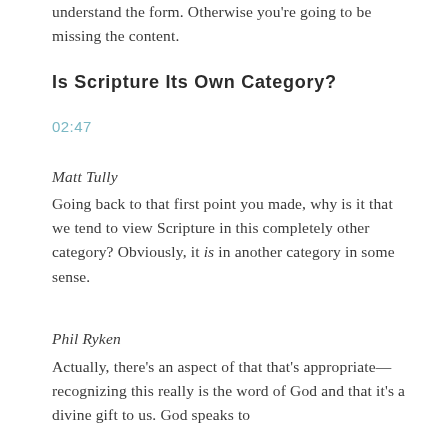understand the form. Otherwise you're going to be missing the content.
Is Scripture Its Own Category?
02:47
Matt Tully
Going back to that first point you made, why is it that we tend to view Scripture in this completely other category? Obviously, it is in another category in some sense.
Phil Ryken
Actually, there's an aspect of that that's appropriate—recognizing this really is the word of God and that it's a divine gift to us. God speaks to